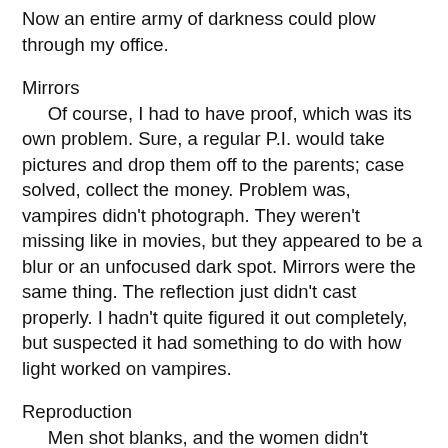Now an entire army of darkness could plow through my office.
Mirrors
Of course, I had to have proof, which was its own problem. Sure, a regular P.I. would take pictures and drop them off to the parents; case solved, collect the money. Problem was, vampires didn't photograph. They weren't missing like in movies, but they appeared to be a blur or an unfocused dark spot. Mirrors were the same thing. The reflection just didn't cast properly. I hadn't quite figured it out completely, but suspected it had something to do with how light worked on vampires.
Reproduction
Men shot blanks, and the women didn't ovulate. Of course, the snippet of text I had found that alluded to that hadn't called it that. Instead it was, "The devil that doth possess these creatures doth rob the male of its seed, nor is the woman guided by the cycle of the moon." I had confirmation when I took a case where a vampire had charmed and used up the daughter of this couple. The rape kit the police had done revealed fluid, but no swimmers